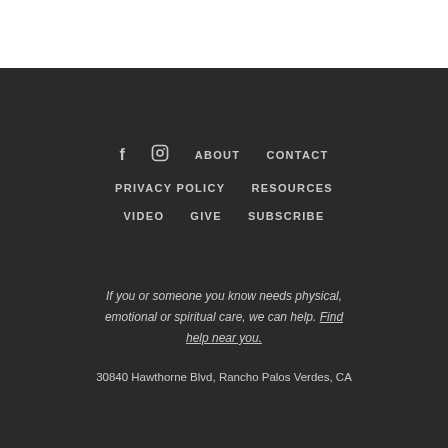f  Instagram  ABOUT  CONTACT  PRIVACY POLICY  RESOURCES  VIDEO  GIVE  SUBSCRIBE
If you or someone you know needs physical, emotional or spiritual care, we can help. Find help near you.
30840 Hawthorne Blvd, Rancho Palos Verdes, CA